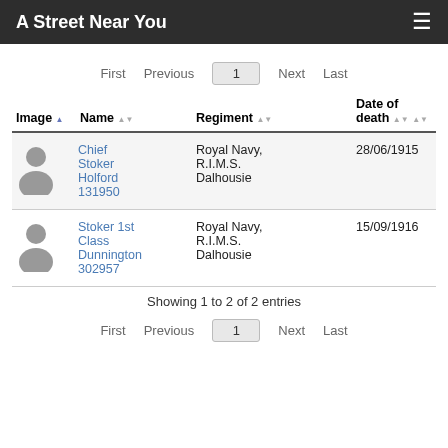A Street Near You
| Image | Name | Regiment | Date of death |
| --- | --- | --- | --- |
| [silhouette] | Chief Stoker Holford 131950 | Royal Navy, R.I.M.S. Dalhousie | 28/06/1915 |
| [silhouette] | Stoker 1st Class Dunnington 302957 | Royal Navy, R.I.M.S. Dalhousie | 15/09/1916 |
Showing 1 to 2 of 2 entries